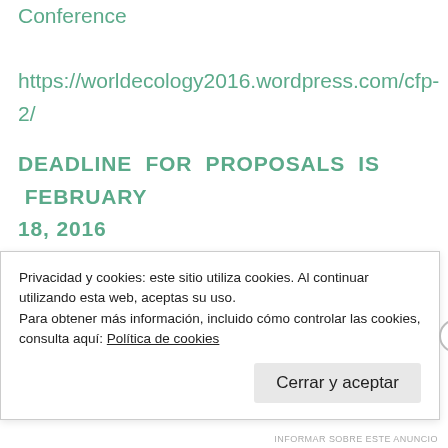Conference website: https://worldecology2016.wordpress.com/cfp-2/
DEADLINE FOR PROPOSALS IS FEBRUARY 18, 2016
The downturn in the global economy that manifested itself in the financial crisis of 2008 shows no signs of ending. Recent falls in global commodity prices, panic on the Chinese stock
Privacidad y cookies: este sitio utiliza cookies. Al continuar utilizando esta web, aceptas su uso.
Para obtener más información, incluido cómo controlar las cookies, consulta aquí: Política de cookies
Cerrar y aceptar